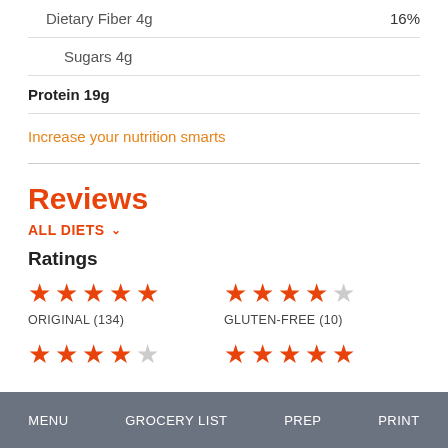Dietary Fiber 4g  16%
Sugars 4g
Protein 19g
Increase your nutrition smarts
Reviews
ALL DIETS
Ratings
[Figure (other): Star ratings: ORIGINAL (134) with 5 red stars, GLUTEN-FREE (10) with 4 red stars and 1 gray star]
[Figure (other): Bottom partial star rows: left row has 4 red stars and 1 gray star; right row has 5 red stars]
MENU   GROCERY LIST   PREP   PRINT